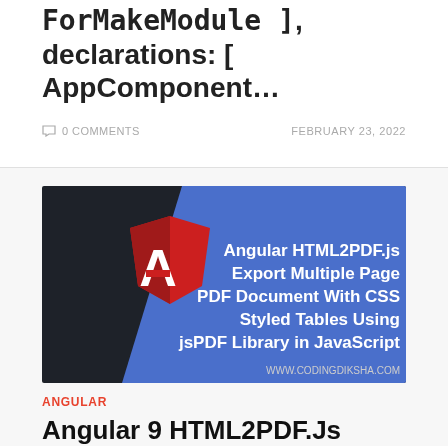ForMakeModule ], declarations: [ AppComponent…
0 COMMENTS    FEBRUARY 23, 2022
[Figure (screenshot): Angular logo on dark background with text: Angular HTML2PDF.js Export Multiple Page PDF Document With CSS Styled Tables Using jsPDF Library in JavaScript. www.codingdiksha.com]
ANGULAR
Angular 9 HTML2PDF.Js